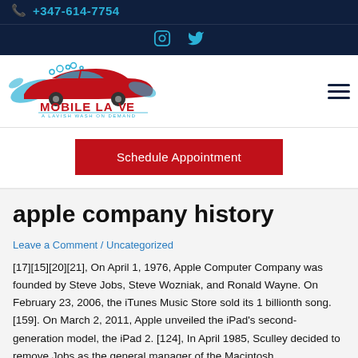+347-614-7754
[Figure (logo): Mobile Lave logo with car and water splash, red and blue colors, tagline: A LAVISH WASH ON DEMAND]
Schedule Appointment
apple company history
Leave a Comment / Uncategorized
[17][15][20][21], On April 1, 1976, Apple Computer Company was founded by Steve Jobs, Steve Wozniak, and Ronald Wayne. On February 23, 2006, the iTunes Music Store sold its 1 billionth song.[159]. On March 2, 2011, Apple unveiled the iPad's second-generation model, the iPad 2. [124], In April 1985, Sculley decided to remove Jobs as the general manager of the Macintosh